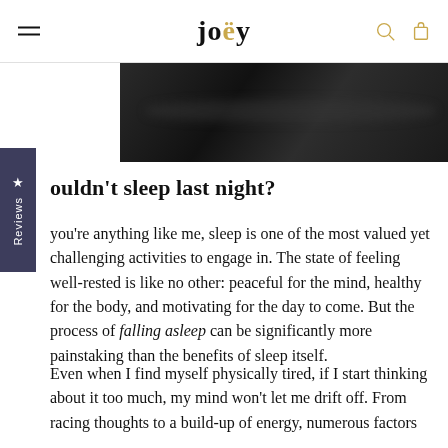joey
[Figure (photo): Dark background image, appears to show fabric or bedding in very dark tones]
Couldn't sleep last night?
If you're anything like me, sleep is one of the most valued yet challenging activities to engage in. The state of feeling well-rested is like no other: peaceful for the mind, healthy for the body, and motivating for the day to come. But the process of falling asleep can be significantly more painstaking than the benefits of sleep itself.
Even when I find myself physically tired, if I start thinking about it too much, my mind won't let me drift off. From racing thoughts to a build-up of energy, numerous factors